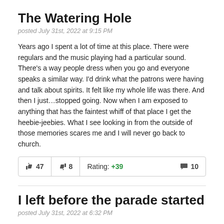The Watering Hole
posted July 31st, 2022 at 9:15 PM
Years ago I spent a lot of time at this place. There were regulars and the music playing had a particular sound. There's a way people dress when you go and everyone speaks a similar way. I'd drink what the patrons were having and talk about spirits. It felt like my whole life was there. And then I just…stopped going. Now when I am exposed to anything that has the faintest whiff of that place I get the heebie-jeebies. What I see looking in from the outside of those memories scares me and I will never go back to church.
| 👍 47 | 👎 8 | Rating: +39 | 💬 10 |
| --- | --- | --- | --- |
I left before the parade started
posted July 31st, 2022 at 6:32 PM
I'm middle-aged was transitioning a few year to female but stopped as